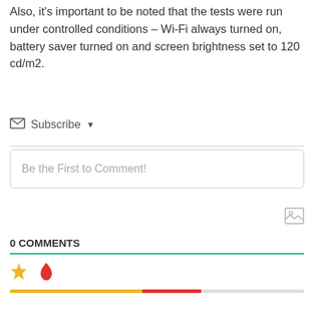Also, it's important to be noted that the tests were run under controlled conditions – Wi-Fi always turned on, battery saver turned on and screen brightness set to 120 cd/m2.
Subscribe ▾
Be the First to Comment!
0 COMMENTS